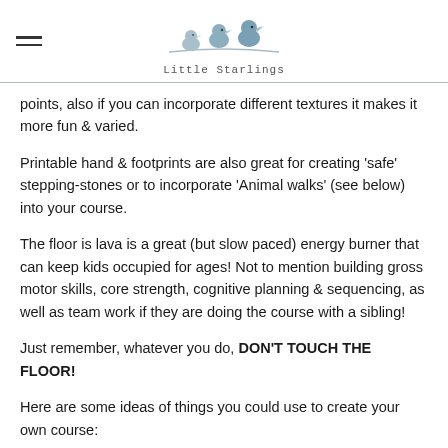Little Starlings
points, also if you can incorporate different textures it makes it more fun & varied.
Printable hand & footprints are also great for creating 'safe' stepping-stones or to incorporate 'Animal walks' (see below) into your course.
The floor is lava is a great (but slow paced) energy burner that can keep kids occupied for ages! Not to mention building gross motor skills, core strength, cognitive planning & sequencing, as well as team work if they are doing the course with a sibling!
Just remember, whatever you do, DON'T TOUCH THE FLOOR!
Here are some ideas of things you could use to create your own course: